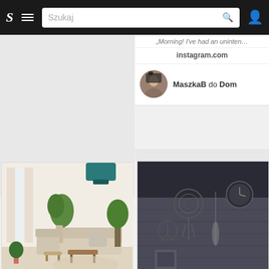[Figure (screenshot): Mobile app navigation bar with logo S, hamburger menu, search bar with placeholder 'Szukaj', and user icon on dark background]
„Morning! I've had an uninten…
instagram.com
MaszkaB do Dom
[Figure (photo): Bright Scandinavian living room with beige sofa, wooden coffee tables, indoor plants, and teal ceiling lamp]
Nowoczesny plafon sufitowy TACOMA GOLD rewelacyjnie oŚw…
wnętrza
design
styl
home
lysne.pl
LYSNE.PL 🔴 do KOLEKCJA GOLD
[Figure (photo): Dark moody bedroom with charcoal textured accent wall, black bedding, decorative wall hangings, boho style]
♣ 11 ♥ 10
Interior | Design | Bedroom na Instagramie: „Wow ������…
instagram.com